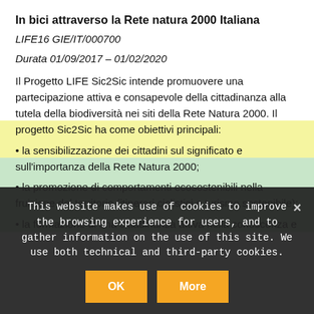In bici attraverso la Rete natura 2000 Italiana
LIFE16 GIE/IT/000700
Durata 01/09/2017 – 01/02/2020
Il Progetto LIFE Sic2Sic intende promuovere una partecipazione attiva e consapevole della cittadinanza alla tutela della biodiversità nei siti della Rete Natura 2000. Il progetto Sic2Sic ha come obiettivi principali:
• la sensibilizzazione dei cittadini sul significato e sull'importanza della Rete Natura 2000;
• la promozione di comportamenti ecosostenibili nella fruizione del territorio (itinerari ciclistici e turismo sostenibile);
• la formazione di una cittadinanza attiva nella conoscenza e
This website makes use of cookies to improve the browsing experience for users, and to gather information on the use of this site. We use both technical and third-party cookies.